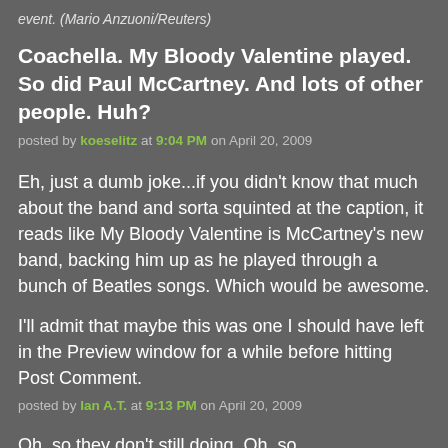event. (Mario Anzuoni/Reuters)
Coachella. My Bloody Valentine played. So did Paul McCartney. And lots of other people. Huh?
posted by koeselitz at 9:04 PM on April 20, 2009
Eh, just a dumb joke...if you didn't know that much about the band and sorta squinted at the caption, it reads like My Bloody Valentine is McCartney's new band, backing him up as he played through a bunch of Beatles songs. Which would be awesome.
I'll admit that maybe this was one I should have left in the Preview window for a while before hitting Post Comment.
posted by Ian A.T. at 9:13 PM on April 20, 2009
Oh, so they don't still doing. Oh, so...